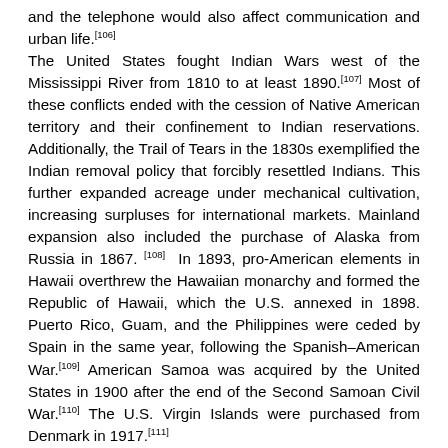and the telephone would also affect communication and urban life.[106] The United States fought Indian Wars west of the Mississippi River from 1810 to at least 1890.[107] Most of these conflicts ended with the cession of Native American territory and their confinement to Indian reservations. Additionally, the Trail of Tears in the 1830s exemplified the Indian removal policy that forcibly resettled Indians. This further expanded acreage under mechanical cultivation, increasing surpluses for international markets. Mainland expansion also included the purchase of Alaska from Russia in 1867.[108] In 1893, pro-American elements in Hawaii overthrew the Hawaiian monarchy and formed the Republic of Hawaii, which the U.S. annexed in 1898. Puerto Rico, Guam, and the Philippines were ceded by Spain in the same year, following the Spanish–American War.[109] American Samoa was acquired by the United States in 1900 after the end of the Second Samoan Civil War.[110] The U.S. Virgin Islands were purchased from Denmark in 1917.[111] Rapid economic development during the late 19th and early 20th centuries fostered the rise of many